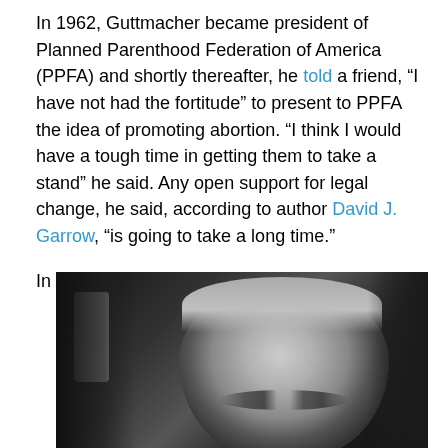In 1962, Guttmacher became president of Planned Parenthood Federation of America (PPFA) and shortly thereafter, he told a friend, “I have not had the fortitude” to present to PPFA the idea of promoting abortion. “I think I would have a tough time in getting them to take a stand” he said. Any open support for legal change, he said, according to author David J. Garrow, “is going to take a long time.”
In reality, it did not take long at all.
[Figure (photo): Black and white photograph of a person, showing the face and forehead from slightly below. The image is high-contrast monochrome with dark background.]